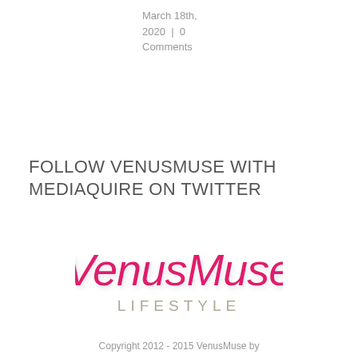March 18th, 2020 | 0 Comments
FOLLOW VENUSMUSE WITH MEDIAQUIRE ON TWITTER
[Figure (logo): VenusMuse Lifestyle logo — cursive pink script 'VenusMuse' above grey spaced uppercase 'LIFESTYLE']
Copyright 2012 - 2015 VenusMuse by